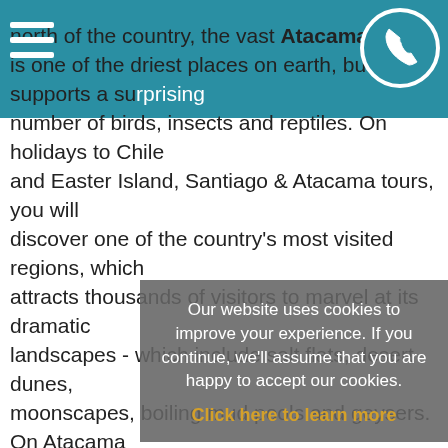north of the country, the vast Atacama Desert is one of the driest places on earth, but still supports a surprising number of birds, insects and reptiles. On holidays to Chile and Easter Island, Santiago & Atacama tours, you will discover one of the country's most visited regions, which attracts thousands of visitors to marvel at its dramatic landscapes - which include salt flats, desert dunes, moonscapes, boiling mud pools and geysers. On Atacama tours, even the sunsets are world famous! Over the ages, wind and water have carved these fantastic rock shapes and the national parks protect both the eco-system and its indigenous traditions and crafts. With its clear night skies, star gazing is also superb on Atacama tours.
On holidays to Chile and Easter Island, the scenery changes dramatically as you move south from Santiago towards the stunning forested lakes, snow-topped mountains and volcanoes of the Lake District. Walking and outdoor activities of all kind abound here, whilst the ancient culture and handicrafts of the indigenous Malpuche people are still
Our website uses cookies to improve your experience. If you continue, we'll assume that you are happy to accept our cookies.
Click here to learn more